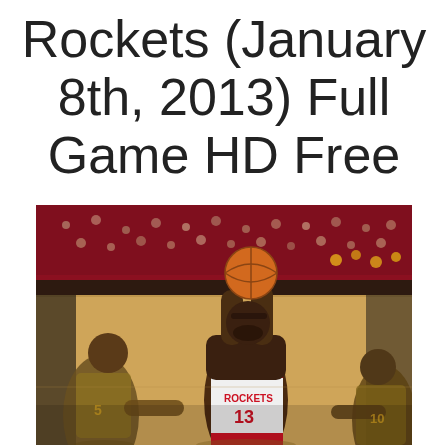Rockets (January 8th, 2013) Full Game HD Free
[Figure (photo): Basketball game photo: A Houston Rockets player wearing jersey number 13 shoots the ball while being guarded by two Los Angeles Lakers players in yellow/purple jerseys. The arena is filled with fans in the background.]